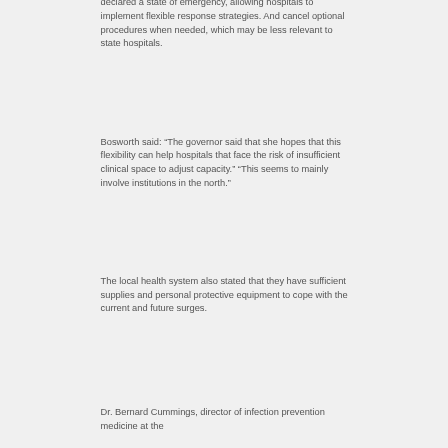declared a state of emergency, allowing hospitals to implement flexible response strategies. And cancel optional procedures when needed, which may be less relevant to state hospitals.
Bosworth said: “The governor said that she hopes that this flexibility can help hospitals that face the risk of insufficient clinical space to adjust capacity.” “This seems to mainly involve institutions in the north.”
The local health system also stated that they have sufficient supplies and personal protective equipment to cope with the current and future surges.
Dr. Bernard Cummings, director of infection prevention medicine at the